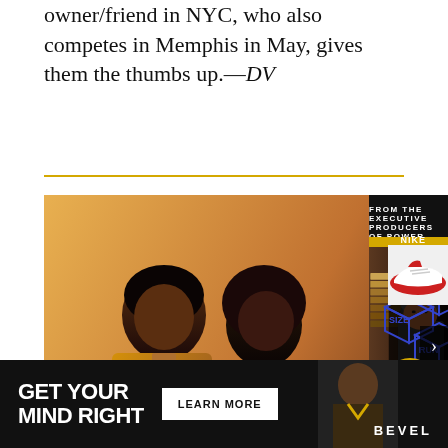owner/friend in NYC, who also competes in Memphis in May, gives them the thumbs up.—DV
[Figure (screenshot): Media content area showing a TV show promotional image on the left (two characters, one in yellow/brown jacket) and a YouTube video thumbnail on the right for 'DJ Clark Kent Says He's Not a Sneakerhead | Full Size Run' from Full Size Run channel, with a person wearing NY Yankees cap surrounded by Nike shoe boxes, and a yellow arrow button]
[Figure (screenshot): Advertisement bar at bottom: 'GET YOUR MIND RIGHT' with 'LEARN MORE' button and Bevel brand logo on the right side, dark background]